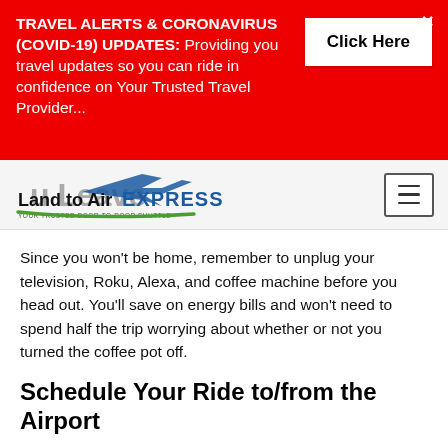[Figure (infographic): Red travel alert banner with bold text: TRAVEL ALERTS & CORONAVIRUS (COVID-19) UPDATES: Providing you travel updates so you can ride in confidence on Your Trusted Travel Provider... with a white Click Here button and an X close button]
[Figure (logo): Land to Air EXPRESS logo with airplane illustration and green swoosh underline, with a hamburger menu button on the right and faded background text partially visible]
Since you won't be home, remember to unplug your television, Roku, Alexa, and coffee machine before you head out. You'll save on energy bills and won't need to spend half the trip worrying about whether or not you turned the coffee pot off.
Schedule Your Ride to/from the Airport
Planning to drive to the airport or catch an Uber ride? Why not skip the parking fees or the awkwardness of